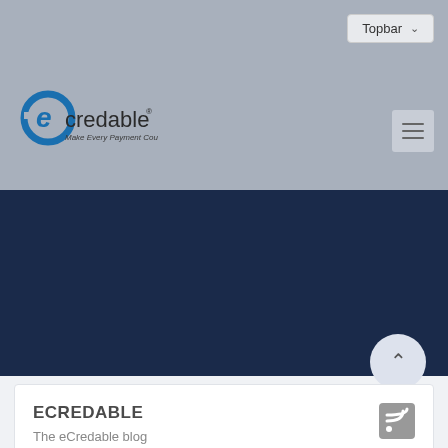[Figure (logo): eCredable logo with blue swoosh and 'Make Every Payment Count' tagline]
Topbar
Resources / Blog
ECREDABLE
The eCredable blog